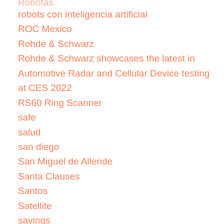Robotas
robots con inteligencia artificial
ROC Mexico
Rohde & Schwarz
Rohde & Schwarz showcases the latest in Automotive Radar and Cellular Device testing at CES 2022
RS60 Ring Scanner
safe
salud
san diego
San Miguel de Allende
Santa Clauses
Santos
Satellite
savings
Savings that Pay Off
Scam
scammers